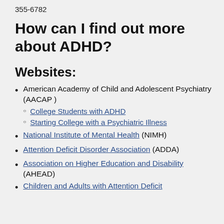355-6782
How can I find out more about ADHD?
Websites:
American Academy of Child and Adolescent Psychiatry (AACAP)
College Students with ADHD
Starting College with a Psychiatric Illness
National Institute of Mental Health (NIMH)
Attention Deficit Disorder Association (ADDA)
Association on Higher Education and Disability (AHEAD)
Children and Adults with Attention Deficit